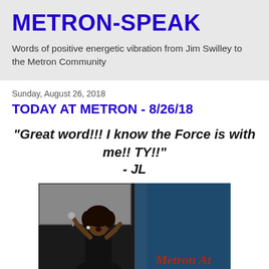METRON-SPEAK
Words of positive energetic vibration from Jim Swilley to the Metron Community
Sunday, August 26, 2018
TODAY AT METRON - 8/26/18
"Great word!!! I know the Force is with me!! TY!!" - JL
[Figure (photo): A woman singing into a microphone on stage, wearing a black outfit, with a blue-toned background panel. Text visible in lower right corner.]